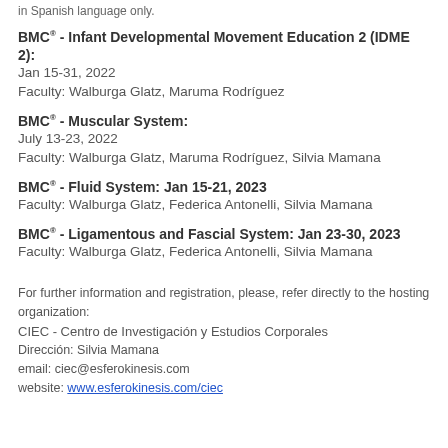in Spanish language only.
BMC® - Infant Developmental Movement Education 2 (IDME 2): Jan 15-31, 2022
Faculty: Walburga Glatz, Maruma Rodríguez
BMC® - Muscular System: July 13-23, 2022
Faculty: Walburga Glatz, Maruma Rodríguez, Silvia Mamana
BMC® - Fluid System: Jan 15-21, 2023
Faculty: Walburga Glatz, Federica Antonelli, Silvia Mamana
BMC® - Ligamentous and Fascial System: Jan 23-30, 2023
Faculty: Walburga Glatz, Federica Antonelli, Silvia Mamana
For further information and registration, please, refer directly to the hosting organization:
CIEC - Centro de Investigación y Estudios Corporales
Dirección: Silvia Mamana
email: ciec@esferokinesis.com
website: www.esferokinesis.com/ciec